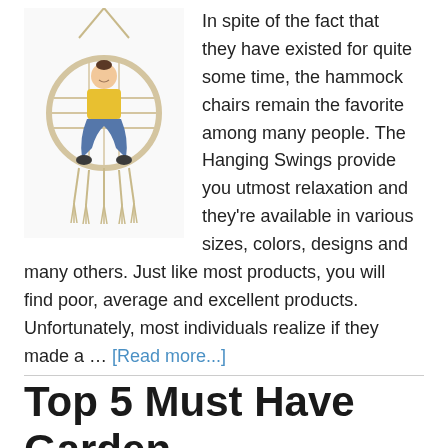[Figure (photo): Woman sitting cross-legged in a white macrame hammock swing chair]
In spite of the fact that they have existed for quite some time, the hammock chairs remain the favorite among many people. The Hanging Swings provide you utmost relaxation and they're available in various sizes, colors, designs and many others. Just like most products, you will find poor, average and excellent products. Unfortunately, most individuals realize if they made a … [Read more...]
Top 5 Must Have Garden Accessories in